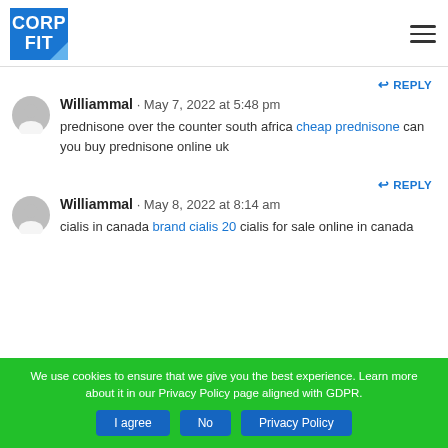CORP FIT [logo] [hamburger menu]
↩ REPLY
Williammal · May 7, 2022 at 5:48 pm
prednisone over the counter south africa cheap prednisone can you buy prednisone online uk
↩ REPLY
Williammal · May 8, 2022 at 8:14 am
cialis in canada brand cialis 20 cialis for sale online in canada
We use cookies to ensure that we give you the best experience. Learn more about it in our Privacy Policy page aligned with GDPR.